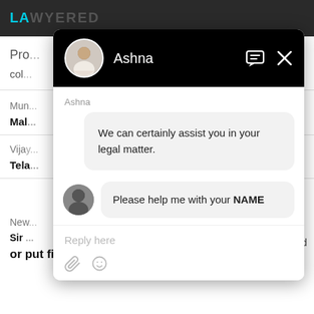LAWYERED
Pro... col...
Mum... Mal...
Vija... Tela...
New... Sir ... lied or put final report?
[Figure (screenshot): Chat popup window with agent Ashna. Header shows avatar and name 'Ashna' with chat and close icons on black background. Message from Ashna: 'We can certainly assist you in your legal matter.' Bot message: 'Please help me with your NAME'. Reply input area with 'Reply here' placeholder and attachment/emoji icons.]